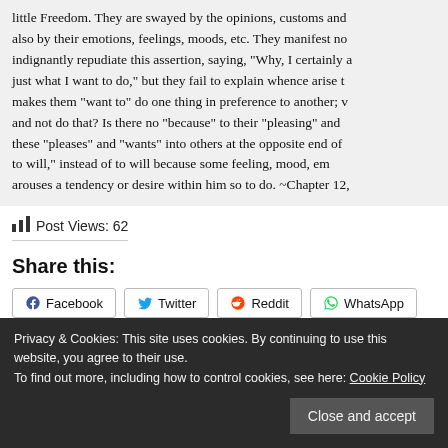little Freedom. They are swayed by the opinions, customs and also by their emotions, feelings, moods, etc. They manifest no indignantly repudiate this assertion, saying, "Why, I certainly a just what I want to do," but they fail to explain whence arise t makes them "want to" do one thing in preference to another; v and not do that? Is there no "because" to their "pleasing" and these "pleases" and "wants" into others at the opposite end o to will," instead of to will because some feeling, mood, em arouses a tendency or desire within him so to do. ~Chapter 12,
Post Views: 62
Share this:
Facebook  Twitter  Reddit  WhatsApp
Like this:
Loading...
Privacy & Cookies: This site uses cookies. By continuing to use this website, you agree to their use. To find out more, including how to control cookies, see here: Cookie Policy
Close and accept